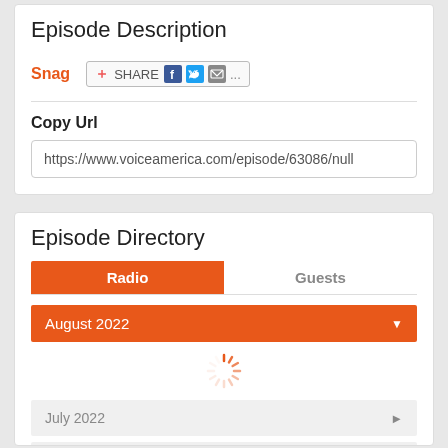Episode Description
Snag
[Figure (screenshot): Share button with Facebook, Twitter, email icons]
Copy Url
https://www.voiceamerica.com/episode/63086/null
Episode Directory
Radio  |  Guests (tab bar)
August 2022
[Figure (other): Loading spinner icon]
July 2022
June 2022
Load All Episodes